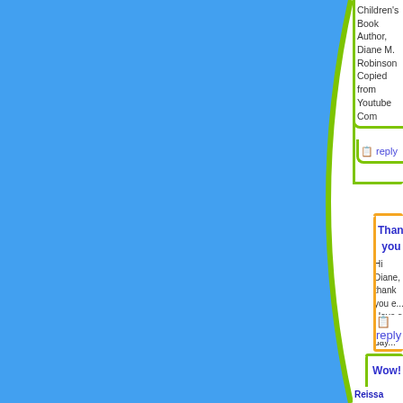Children's Book Author, Diane M. Robinson Copied from Youtube Com...
reply
Thank you
Hi Diane, thank you e... Have a wonderful day...
reply
Wow!
Reissa Rapkin comment...
Reissa wrote: "Wow! I was... Montreal for about 50 chil... were thrilled with Max's st... seen many performers, I c... was had by all. Thanks Ma...